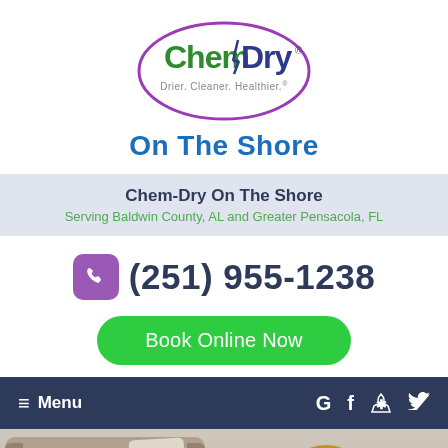[Figure (logo): Chem-Dry logo oval with green and purple text, tagline Drier. Cleaner. Healthier.]
On The Shore
Chem-Dry On The Shore
Serving Baldwin County, AL and Greater Pensacola, FL
(251) 955-1238
Book Online Now
≡ Menu
[Figure (photo): Two smiling children lying on carpet in a living room with a beige couch in background.]